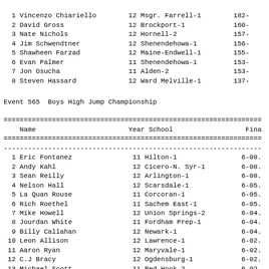|  | Name | Year | School | Finals |
| --- | --- | --- | --- | --- |
| 1 | Vincenzo Chiariello | 12 | Msgr. Farrell-1 | 182- |
| 2 | David Gross | 12 | Brockport-1 | 160- |
| 3 | Nate Nichols | 12 | Hornell-2 | 157- |
| 4 | Jim Schwendtner | 12 | Shenendehowa-1 | 156- |
| 5 | Shawheen Farzad | 12 | Maine-Endwell-1 | 155- |
| 6 | Evan Palmer | 11 | Shenendehowa-1 | 153- |
| 7 | Jon Osucha | 11 | Alden-2 | 153- |
| 8 | Steven Hassard | 12 | Ward Melville-1 | 137- |
Event 565  Boys High Jump Championship
|  | Name | Year | School | Finals |
| --- | --- | --- | --- | --- |
| 1 | Eric Fontanez | 11 | Hilton-1 | 6-08. |
| 2 | Andy Kahl | 12 | Cicero-N. Syr-1 | 6-08. |
| 3 | Sean Reilly | 12 | Arlington-1 | 6-08. |
| 4 | Nelson Hall | 12 | Scarsdale-1 | 6-05. |
| 5 | La Quan Rouse | 11 | Corcoran-1 | 6-05. |
| 6 | Rich Roethel | 11 | Sachem East-1 | 6-05. |
| 7 | Mike Howell | 12 | Union Springs-2 | 6-04. |
| 8 | Jourdan White | 11 | Fordham Prep-1 | 6-04. |
| 9 | Billy Callahan | 12 | Newark-1 | 6-04. |
| 10 | Leon Allison | 12 | Lawrence-1 | 6-02. |
| 11 | Aaron Ryan | 12 | Maryvale-1 | 6-02. |
| 12 | C.J Bracy | 12 | Ogdensburg-1 | 6-02. |
| 13 | Michael Scott | 11 | Red Hook-2 | 6-02. |
| 14 | John Foley | 12 | Chenango Valley2 | 6-02. |
| 15 | Mike Sims | 12 | Carle Place-2 | 6-00. |
| 16 | Ahkim Amada | 12 | East Hampton-1 | 6-00. |
| 17 | Michael Foster | 12 | Iona Prep-1 | 6-00. |
| 17 | David Marsh | 11 | Phoenix-2 | 6-00. |
| 17 | Wayne Lewis | 12 | Middletown-1 | 6-00. |
| 20 | Philip Flynn | 11 | Valhalla-2 | 6-00. |
| 21 | Dustin Scott | 11 | Ticonderoga-2 | 6-00. |
| 22 | Tom Little | 11 | Falconer-2 | 5-09. |